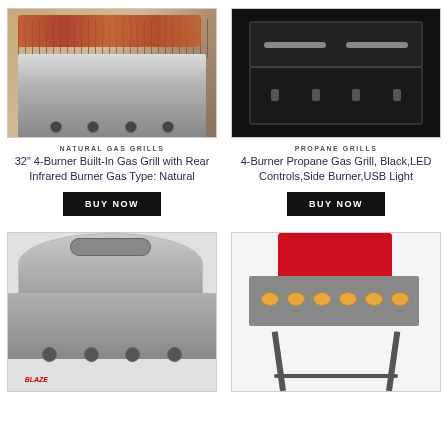[Figure (photo): Natural gas grill with food on grates, stainless steel body, outdoor setting]
NATURAL GAS GRILLS
32" 4-Burner Built-In Gas Grill with Rear Infrared Burner Gas Type: Natural
BUY NOW
[Figure (photo): Black 4-burner propane gas grill with LED controls and side burner]
PROPANE GRILLS
4-Burner Propane Gas Grill, Black,LED Controls,Side Burner,USB Light
BUY NOW
[Figure (photo): Stainless steel built-in gas grill with open lid showing grates and knobs]
[Figure (photo): Portable propane grill with red lid, pancakes on griddle, on folding stand]